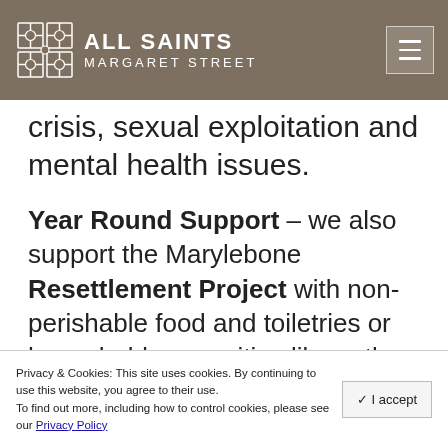ALL SAINTS MARGARET STREET
crisis, sexual exploitation and mental health issues.
Year Round Support – we also support the Marylebone Resettlement Project with non-perishable food and toiletries or household necessities like cutlery or bed linen/blankets. Thank you to everyone who contributes food and household essentials via the
Privacy & Cookies: This site uses cookies. By continuing to use this website, you agree to their use. To find out more, including how to control cookies, please see our Privacy Policy